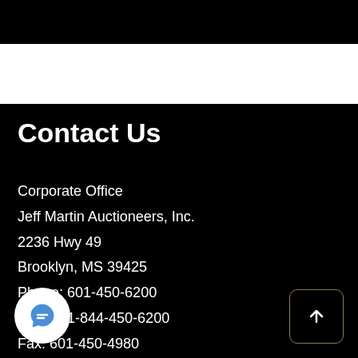Contact Us
Corporate Office
Jeff Martin Auctioneers, Inc.
2236 Hwy 49
Brooklyn, MS 39425
Phone: 601-450-6200
Phone: 1-844-450-6200
Fax: 601-450-4980
@jeffmartinauctioneers.com
[Figure (illustration): White circular chat bubble icon on white circle background]
[Figure (illustration): Back to top arrow button in a rounded square with dark gold border]